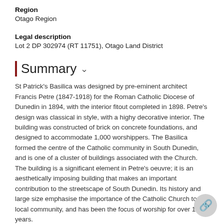Region
Otago Region
Legal description
Lot 2 DP 302974 (RT 11751), Otago Land District
Summary
St Patrick's Basilica was designed by pre-eminent architect Francis Petre (1847-1918) for the Roman Catholic Diocese of Dunedin in 1894, with the interior fitout completed in 1898. Petre's design was classical in style, with a highy decorative interior. The building was constructed of brick on concrete foundations, and designed to accommodate 1,000 worshippers. The Basilica formed the centre of the Catholic community in South Dunedin, and is one of a cluster of buildings associated with the Church. The building is a significant element in Petre's oeuvre; it is an aesthetically imposing building that makes an important contribution to the streetscape of South Dunedin. Its history and large size emphasise the importance of the Catholic Church to the local community, and has been the focus of worship for over 110 years.
Assessment criteria